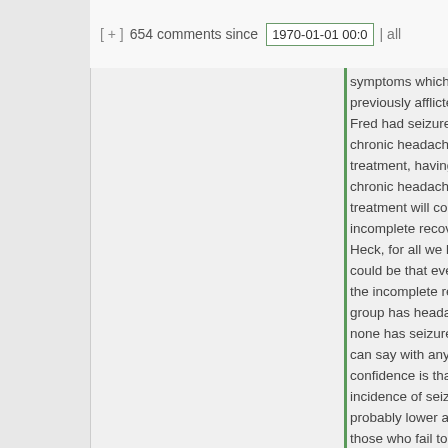[ + ]  654 comments since  1970-01-01 00:0
symptoms which previously afflicte Fred had seizures chronic headache treatment, having chronic headache treatment will cou incomplete recove Heck, for all we k could be that ever the incomplete re group has headac none has seizures can say with any confidence is that incidence of seizu probably lower am those who fail to f